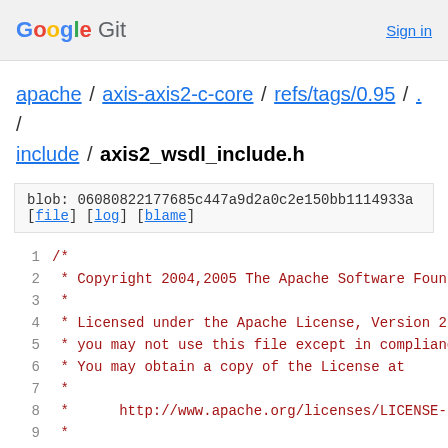Google Git  Sign in
apache / axis-axis2-c-core / refs/tags/0.95 / . / include / axis2_wsdl_include.h
blob: 06080822177685c447a9d2a0c2e150bb1114933a [file] [log] [blame]
1  /*
2   * Copyright 2004,2005 The Apache Software Found
3   *
4   * Licensed under the Apache License, Version 2
5   * you may not use this file except in complianc
6   * You may obtain a copy of the License at
7   *
8   *      http://www.apache.org/licenses/LICENSE-
9   *
10  * Unless required by applicable law or agreed
11  * distributed under the License is distributed